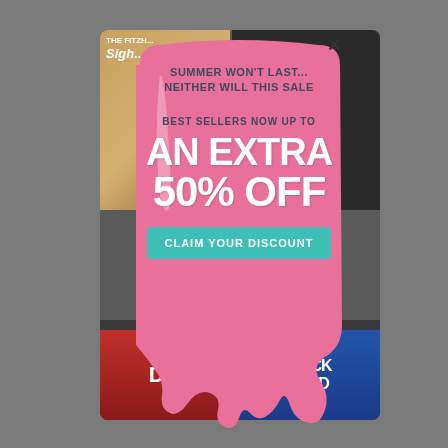[Figure (infographic): A promotional popup styled as a melting popsicle/ice cream shape in pink, overlaying a magazine collage background. The popup advertises a summer sale with 'AN EXTRA 50% OFF' on best sellers, with a teal 'CLAIM YOUR DISCOUNT' button. Background shows magazine covers. An X close button appears top right.]